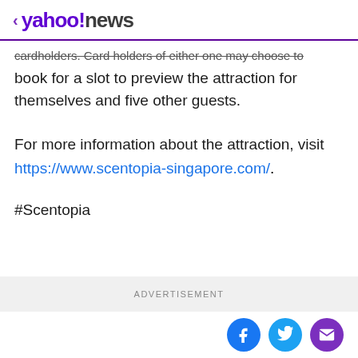< yahoo!news
cardholders. Card holders of either one may choose to book for a slot to preview the attraction for themselves and five other guests.
For more information about the attraction, visit https://www.scentopia-singapore.com/.
#Scentopia
ADVERTISEMENT